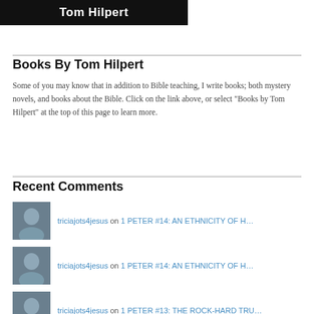[Figure (photo): Black banner with white bold text reading 'Tom Hilpert']
Books By Tom Hilpert
Some of you may know that in addition to Bible teaching, I write books; both mystery novels, and books about the Bible. Click on the link above, or select "Books by Tom Hilpert" at the top of this page to learn more.
Recent Comments
triciajots4jesus on 1 PETER #14: AN ETHNICITY OF H…
triciajots4jesus on 1 PETER #14: AN ETHNICITY OF H…
triciajots4jesus on 1 PETER #13: THE ROCK-HARD TRU…